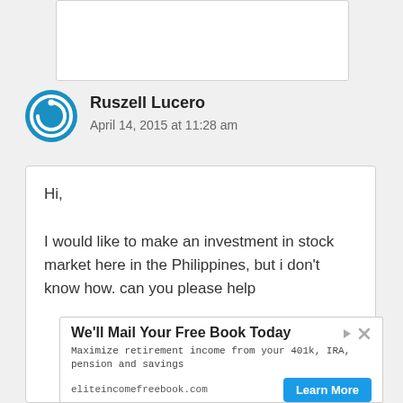[Figure (other): Top white card/box region partially visible at top of page]
Ruszell Lucero
April 14, 2015 at 11:28 am
Hi,

I would like to make an investment in stock market here in the Philippines, but i don't know how. can you please help
[Figure (screenshot): Advertisement banner: We'll Mail Your Free Book Today. Maximize retirement income from your 401k, IRA, pension and savings. eliteincomefreebook.com. Learn More button.]